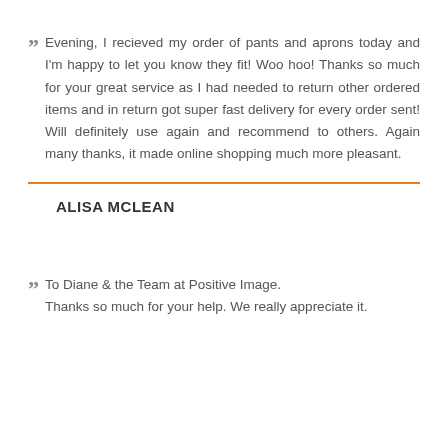Evening, I recieved my order of pants and aprons today and I'm happy to let you know they fit! Woo hoo! Thanks so much for your great service as I had needed to return other ordered items and in return got super fast delivery for every order sent! Will definitely use again and recommend to others. Again many thanks, it made online shopping much more pleasant.
ALISA MCLEAN
To Diane & the Team at Positive Image. Thanks so much for your help. We really appreciate it.